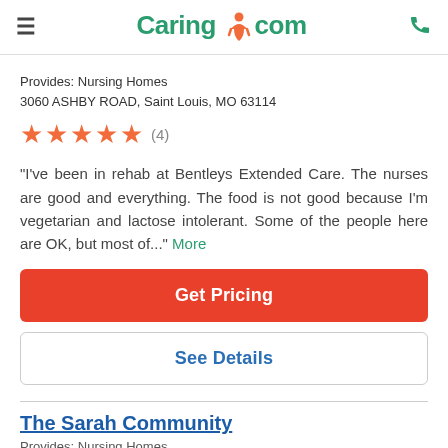Caring.com
Provides: Nursing Homes
3060 ASHBY ROAD, Saint Louis, MO 63114
[Figure (other): Five orange star rating icons with review count (4)]
"I've been in rehab at Bentleys Extended Care. The nurses are good and everything. The food is not good because I'm vegetarian and lactose intolerant. Some of the people here are OK, but most of..." More
Get Pricing
See Details
The Sarah Community
Provides: Nursing Homes